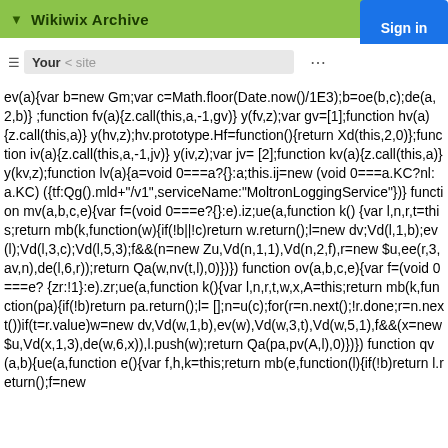Wikiwix Archive
Sign in
ev(a){var b=new Gm;var c=Math.floor(Date.now()/1E3);b=oe(b,c);de(a,2,b)} ;function fv(a){z.call(this,a,-1,gv)} y(fv,z);var gv=[1];function hv(a){z.call(this,a)} y(hv,z);hv.prototype.Hf=function(){return Xd(this,2,0)};function iv(a){z.call(this,a,-1,jv)} y(iv,z);var jv=[2];function kv(a){z.call(this,a)} y(kv,z);function lv(a){a=void 0===a?{}:a;this.ij=new (void 0===a.KC?nl:a.KC)({tf:Qg().mld+"/v1",serviceName:"MoltronLoggingService"})} function mv(a,b,c,e){var f=(void 0===e?{}:e).iz;ue(a,function k(){var l,n,r,t=this;return mb(k,function(w){if(!b||!c)return w.return();l=new dv;Vd(l,1,b);ev(l);Vd(l,3,c);Vd(l,5,3);f&&(n=new Zu,Vd(n,1,1),Vd(n,2,f),r=new $u,ee(r,3,av,n),de(l,6,r));return Qa(w,nv(t,l),0)})}) function ov(a,b,c,e){var f=(void 0===e?{zr:!1}:e).zr;ue(a,function k(){var l,n,r,t,w,x,A=this;return mb(k,function(pa){if(!b)return pa.return();l=[];n=u(c);for(r=n.next();!r.done;r=n.next())if(t=r.value)w=new dv,Vd(w,1,b),ev(w),Vd(w,3,t),Vd(w,5,1),f&&(x=new $u,Vd(x,1,3),de(w,6,x)),l.push(w);return Qa(pa,pv(A,l),0)})}) function qv(a,b){ue(a,function e(){var f,h,k=this;return mb(e,function(l){if(!b)return l.return();f=new